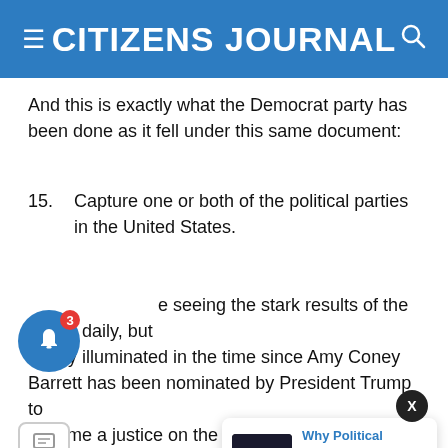CITIZENS JOURNAL
And this is exactly what the Democrat party has been done as it fell under this same document:
15. Capture one or both of the political parties in the United States.
We are seeing the stark results of the above daily, but starkly illuminated in the time since Amy Coney Barrett has been nominated by President Trump to become a justice on the United States Supreme Court. The United States Constitution outlines the procedure for a... President shall... confirmed with the advice and consent of the Senate.